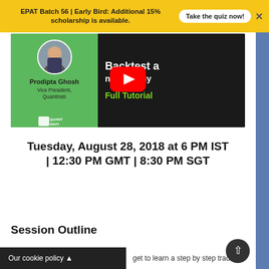EPAT Batch 56 | Early Bird: Additional 15% scholarship is available. Take the quiz now!
[Figure (screenshot): YouTube thumbnail featuring Prodipta Ghosh, Vice President QuantInsti, with title 'Backtest a Trading Strategy Full Tutorial' on dark background with YouTube play button]
Tuesday, August 28, 2018 at 6 PM IST | 12:30 PM GMT | 8:30 PM SGT
Session Outline
Our cookie policy ▲
get to learn a step by step trading